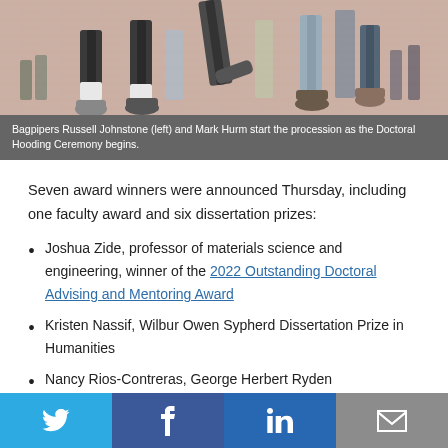[Figure (photo): Photo of bagpipers' legs and feet on a brick surface, walking in procession at a Doctoral Hooding Ceremony.]
Bagpipers Russell Johnstone (left) and Mark Hurm start the procession as the Doctoral Hooding Ceremony begins.
Seven award winners were announced Thursday, including one faculty award and six dissertation prizes:
Joshua Zide, professor of materials science and engineering, winner of the 2022 Outstanding Doctoral Advising and Mentoring Award
Kristen Nassif, Wilbur Owen Sypherd Dissertation Prize in Humanities
Nancy Rios-Contreras, George Herbert Ryden